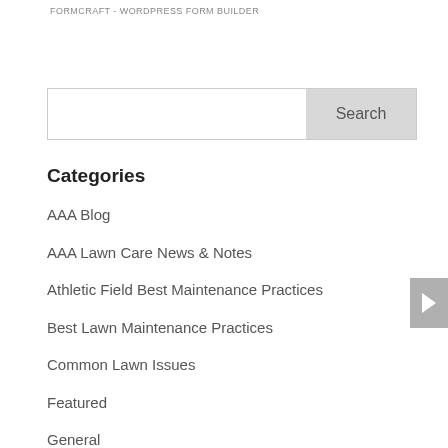FORMCRAFT - WORDPRESS FORM BUILDER
Categories
AAA Blog
AAA Lawn Care News & Notes
Athletic Field Best Maintenance Practices
Best Lawn Maintenance Practices
Common Lawn Issues
Featured
General
Lawn Damaging Insects
Lawn Diseases